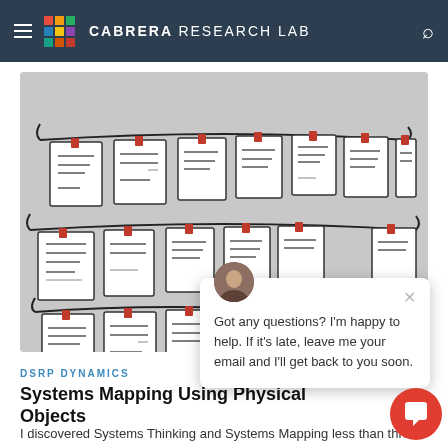CABRERA RESEARCH LAB
[Figure (illustration): Illustration of papers/cards hanging on string lines with red clips, arranged in three rows, suggesting a physical systems mapping activity.]
[Figure (screenshot): Chat popup widget with avatar photo, close button (×), and message: 'Got any questions? I'm happy to help. If it's late, leave me your email and I'll get back to you soon.']
DSRP DYNAMICS
Systems Mapping Using Physical Objects
I discovered Systems Thinking and Systems Mapping less than three months ago. Well, more precisely, I